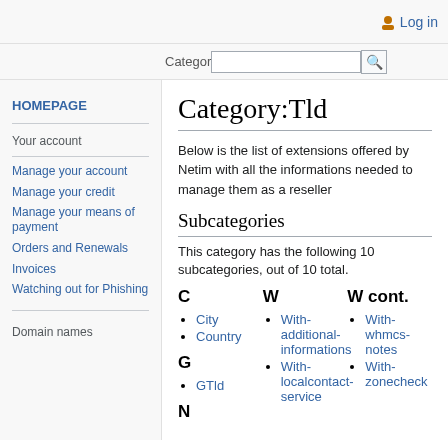Log in
Category (search bar)
HOMEPAGE
Your account
Manage your account
Manage your credit
Manage your means of payment
Orders and Renewals
Invoices
Watching out for Phishing
Domain names
Category:Tld
Below is the list of extensions offered by Netim with all the informations needed to manage them as a reseller
Subcategories
This category has the following 10 subcategories, out of 10 total.
C - City, Country
G - GTld
W - With-additional-informations, With-localcontact-service
W cont. - With-whmcs-notes, With-zonecheck